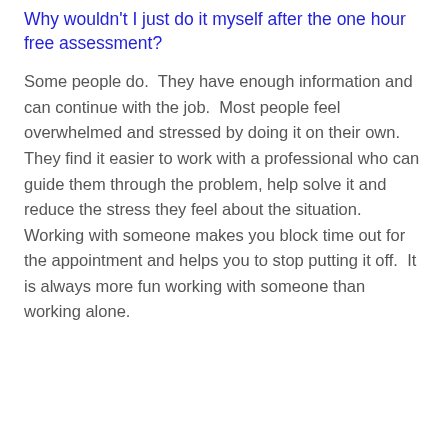Why wouldn't I just do it myself after the one hour free assessment?
Some people do.  They have enough information and can continue with the job.  Most people feel overwhelmed and stressed by doing it on their own.  They find it easier to work with a professional who can guide them through the problem, help solve it and reduce the stress they feel about the situation.  Working with someone makes you block time out for the appointment and helps you to stop putting it off.  It is always more fun working with someone than working alone.